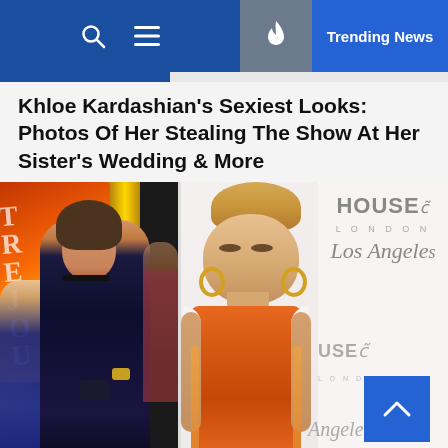Trending News
Khloe Kardashian’s Sexiest Looks: Photos Of Her Stealing The Show At Her Sister’s Wedding & More
[Figure (photo): Two-panel photo: left side shows a woman in a dark blue velvet jacket at a nighttime event with red/orange background signage; right side shows Khloe Kardashian in an orange sleeveless dress posing at a House of CB London/Los Angeles event backdrop.]